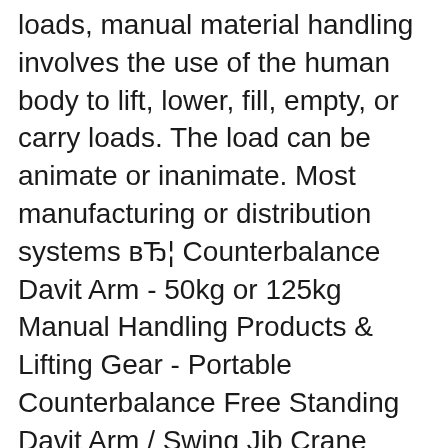loads, manual material handling involves the use of the human body to lift, lower, fill, empty, or carry loads. The load can be animate or inanimate. Most manufacturing or distribution systems вЂ¦ Counterbalance Davit Arm - 50kg or 125kg Manual Handling Products & Lifting Gear - Portable Counterbalance Free Standing Davit Arm / Swing Jib Crane 50kg or 125kg
Reducing the risk of manual handling injuries . The best way to reduce manual handling risks is to eliminate the task by not lifting heavy or bulky objects in the first Manual handling. Manual handling of loads, manual material handling involves the use of